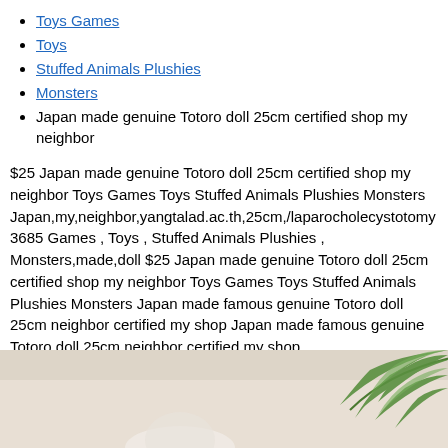Toys Games
Toys
Stuffed Animals Plushies
Monsters
Japan made genuine Totoro doll 25cm certified shop my neighbor
$25 Japan made genuine Totoro doll 25cm certified shop my neighbor Toys Games Toys Stuffed Animals Plushies Monsters Japan,my,neighbor,yangtalad.ac.th,25cm,/laparocholecystotomy3685 Games , Toys , Stuffed Animals Plushies , Monsters,made,doll $25 Japan made genuine Totoro doll 25cm certified shop my neighbor Toys Games Toys Stuffed Animals Plushies Monsters Japan made famous genuine Totoro doll 25cm neighbor certified my shop Japan made famous genuine Totoro doll 25cm neighbor certified my shop Japan,my,neighbor,yangtalad.ac.th,25cm,/laparocholecystotomy3685 Games , Toys , Stuffed Animals Plushies , Monsters,made,doll
[Figure (photo): Photo of a Totoro stuffed animal doll with green fern leaves in the background, light beige surface]